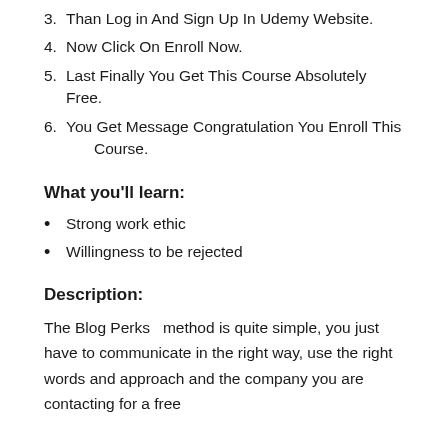3. Than Log in And Sign Up In Udemy Website.
4. Now Click On Enroll Now.
5. Last Finally You Get This Course Absolutely Free.
6. You Get Message Congratulation You Enroll This Course.
What you'll learn:
Strong work ethic
Willingness to be rejected
Description:
The Blog Perks  method is quite simple, you just have to communicate in the right way, use the right words and approach and the company you are contacting for a free